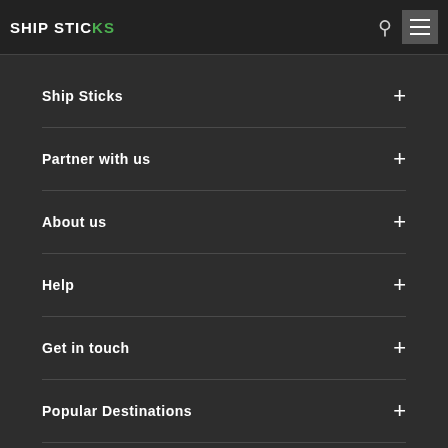SHIP STICKS
Ship Sticks
Partner with us
About us
Help
Get in touch
Popular Destinations